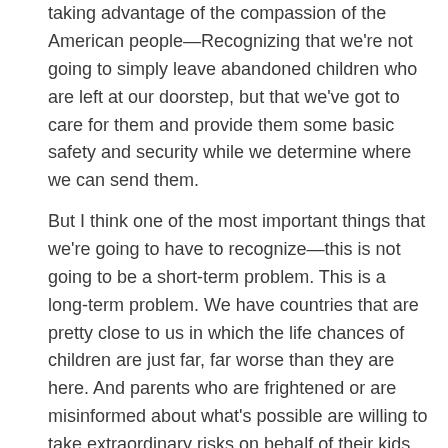taking advantage of the compassion of the American people—Recognizing that we're not going to simply leave abandoned children who are left at our doorstep, but that we've got to care for them and provide them some basic safety and security while we determine where we can send them.
But I think one of the most important things that we're going to have to recognize—this is not going to be a short-term problem. This is a long-term problem. We have countries that are pretty close to us in which the life chances of children are just far, far worse than they are here. And parents who are frightened or are misinformed about what's possible are willing to take extraordinary risks on behalf of their kids. The more that we can do to help these countries get their acts together, then the less likely we are to have a problem at the borders.